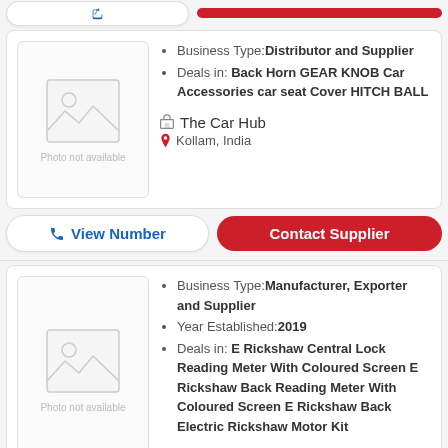[Figure (other): Partial top buttons: View Number and Contact Supplier]
[Figure (photo): Photo not available placeholder image for The Car Hub]
Business Type:Distributor and Supplier
Deals in: Back Horn GEAR KNOB Car Accessories car seat Cover HITCH BALL
The Car Hub
Kollam, India
View Number
Contact Supplier
[Figure (photo): Photo not available placeholder image for Wenj India]
Business Type:Manufacturer, Exporter and Supplier
Year Established:2019
Deals in: E Rickshaw Central Lock Reading Meter With Coloured Screen E Rickshaw Back Reading Meter With Coloured Screen E Rickshaw Back Electric Rickshaw Motor Kit
Wenj India
Delhi, India
View Number
Contact Supplier